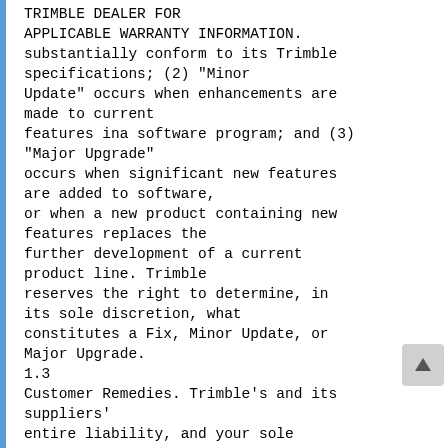TRIMBLE DEALER FOR APPLICABLE WARRANTY INFORMATION.
substantially conform to its Trimble specifications; (2) "Minor Update" occurs when enhancements are made to current features ina software program; and (3) "Major Upgrade" occurs when significant new features are added to software, or when a new product containing new features replaces the further development of a current product line. Trimble reserves the right to determine, in its sole discretion, what constitutes a Fix, Minor Update, or Major Upgrade.
1.3
Customer Remedies. Trimble's and its suppliers' entire liability, and your sole